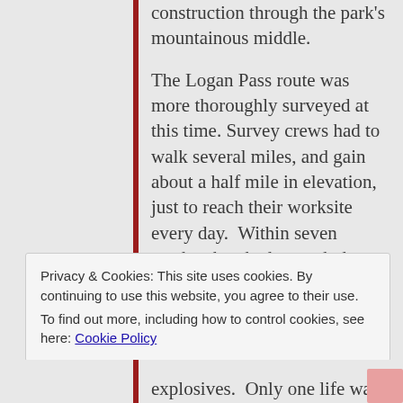construction through the park's mountainous middle.
The Logan Pass route was more thoroughly surveyed at this time. Survey crews had to walk several miles, and gain about a half mile in elevation, just to reach their worksite every day. Within seven weeks, they had enough data to draw up a plan for the road–and just in time, too. Winter was setting in.
Privacy & Cookies: This site uses cookies. By continuing to use this website, you agree to their use. To find out more, including how to control cookies, see here: Cookie Policy
Close and accept
explosives. Only one life was lost